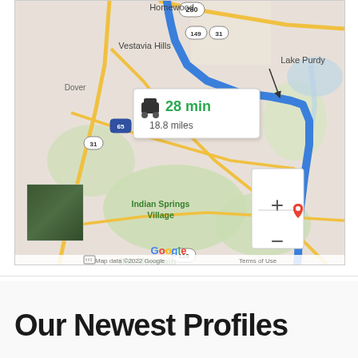[Figure (map): Google Maps screenshot showing a driving route from Homewood/Vestavia Hills area to a destination near Oak Mountain State Park. Route highlighted in blue. Info box shows 28 min, 18.8 miles. Map shows Lake Purdy, Meadowbrook, Indian Springs Village, Oak Mountain State Park. Map data ©2022 Google.]
Our Newest Profiles